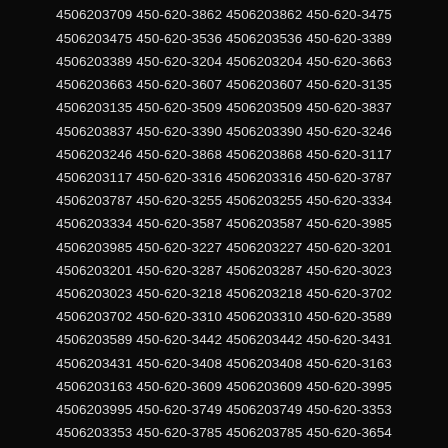4506203034 450-620-3041 4506203041 450-620-3761 4506203761 450-620-3911 4506203911 450-620-3411 4506203411 450-620-3280 4506203280 450-620-3709 4506203709 450-620-3862 4506203862 450-620-3475 4506203475 450-620-3536 4506203536 450-620-3389 4506203389 450-620-3204 4506203204 450-620-3663 4506203663 450-620-3607 4506203607 450-620-3135 4506203135 450-620-3509 4506203509 450-620-3837 4506203837 450-620-3390 4506203390 450-620-3246 4506203246 450-620-3868 4506203868 450-620-3117 4506203117 450-620-3316 4506203316 450-620-3787 4506203787 450-620-3255 4506203255 450-620-3334 4506203334 450-620-3587 4506203587 450-620-3985 4506203985 450-620-3227 4506203227 450-620-3201 4506203201 450-620-3287 4506203287 450-620-3023 4506203023 450-620-3218 4506203218 450-620-3702 4506203702 450-620-3310 4506203310 450-620-3589 4506203589 450-620-3442 4506203442 450-620-3431 4506203431 450-620-3408 4506203408 450-620-3163 4506203163 450-620-3609 4506203609 450-620-3995 4506203995 450-620-3749 4506203749 450-620-3353 4506203353 450-620-3785 4506203785 450-620-3654 4506203654 450-620-3184 4506203184 450-620-3992 4506203992 450-620-3262 4506203262 450-620-3152 4506203152 450-620-3582 4506203582 450-620-3504